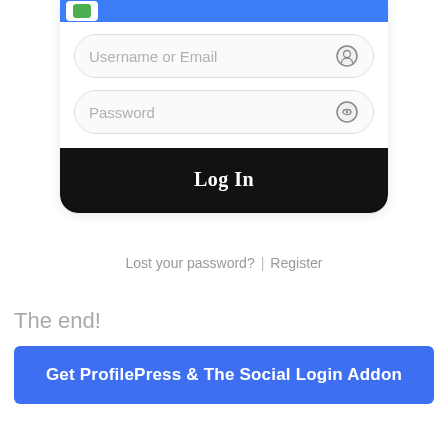[Figure (screenshot): Login form UI with username/email field, password field, and a black Log In button inside a rounded white card with a blue top bar]
Username or Email
Password
Log In
Lost your password? | Register
The end!
Get ProfilePress & The Social Login Addon